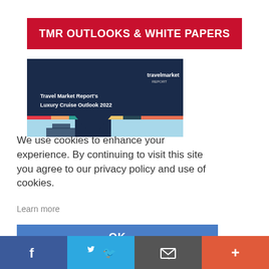TMR OUTLOOKS & WHITE PAPERS
[Figure (screenshot): Travel Market Report's Luxury Cruise Outlook 2022 report cover with dark navy background, colorful horizontal stripes, and a cruise ship image below]
We use cookies to enhance your experience. By continuing to visit this site you agree to our privacy policy and use of cookies.
Learn more
OK
[Figure (infographic): Social media sharing bar with Facebook, Twitter, email/envelope, and plus icons on colored backgrounds]